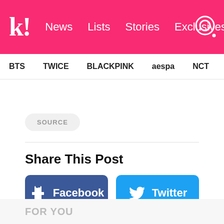k! News Lists Stories Exclusives
BTS TWICE BLACKPINK aespa NCT IVE SHIN...
SOURCE
Share This Post
Facebook
Twitter
FOR YOU